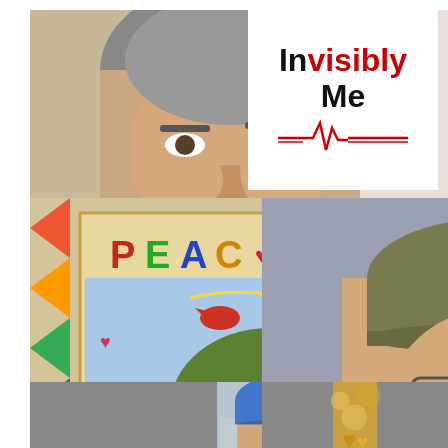[Figure (photo): Close-up photo of a middle-aged man with gray hair wearing a patterned brown shirt, looking slightly to the side]
[Figure (logo): Invisibly Me logo with black and red text and an ECG heartbeat line icon]
[Figure (photo): Colorful quilt artwork showing a tree with text PEACE IS at the top, surrounded by colorful triangles]
[Figure (photo): Photo of a smiling man wearing a camouflage cap and glasses, at what appears to be a stadium]
[Figure (photo): Partial photo of a person wearing a blue cap, cropped at bottom]
[Figure (photo): Partial photo with bokeh background showing what appears to be a gold/yellow heart shape]